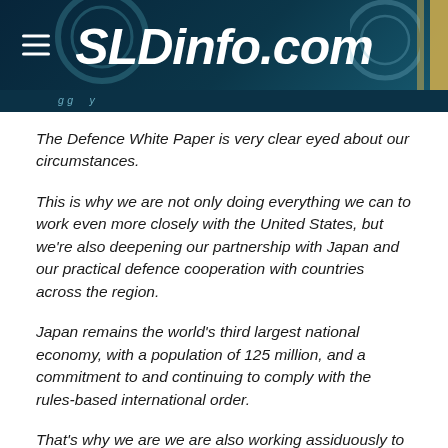SLDinfo.com
The Defence White Paper is very clear eyed about our circumstances.
This is why we are not only doing everything we can to work even more closely with the United States, but we're also deepening our partnership with Japan and our practical defence cooperation with countries across the region.
Japan remains the world's third largest national economy, with a population of 125 million, and a commitment to and continuing to comply with the rules-based international order.
That's why we are we are also working assiduously to build and strengthen defence cooperation with India whose